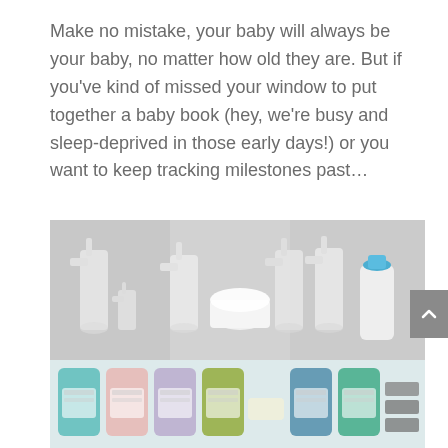Make no mistake, your baby will always be your baby, no matter how old they are. But if you've kind of missed your window to put together a baby book (hey, we're busy and sleep-deprived in those early days!) or you want to keep tracking milestones past…
[Figure (photo): Top half: multiple white spray bottles of various sizes arranged on a light grey background. Bottom half: colorful refill pouches/pods in teal, pink, lavender, green, blue, and green tones arranged in a row with grey folded cloths at the right.]